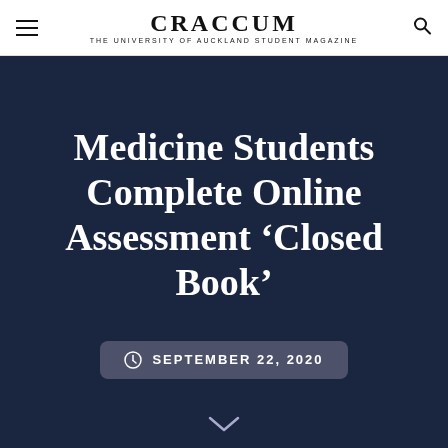CRACCUM — THE UNIVERSITY OF AUCKLAND STUDENT MAGAZINE
Medicine Students Complete Online Assessment ‘Closed Book’
SEPTEMBER 22, 2020